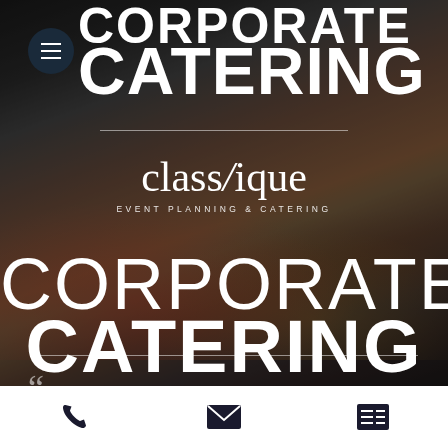[Figure (screenshot): Mobile website screenshot for Classique Event Planning & Catering showing corporate catering page. Dark overlay on food/people background. Top shows partial CORPORATE CATERING header text. Hamburger menu button top left. Center shows Classique logo with event planning & catering subtitle. Bottom shows CORPORATE CATERING in large white text. Decorative horizontal rules. Bottom footer bar has phone, email, and list icons.]
CORPORATE CATERING
Phone | Email | Menu icons